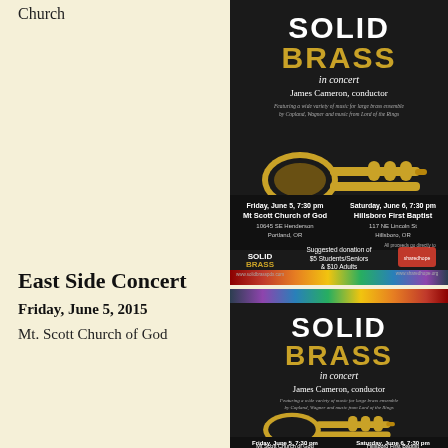Hillsboro First Baptist Church
[Figure (illustration): Solid Brass in concert poster (top). James Cameron, conductor. Featuring a wide variety of music for large brass ensemble by Copland, Wagner and music from Lord of the Rings. Friday, June 5, 7:30 pm Mt Scott Church of God, 10645 SE Henderson, Portland, OR. Saturday, June 6, 7:30 pm Hillsboro First Baptist, 117 NE Lincoln St, Hillsboro, OR. Suggested donation of $5 Students/Seniors & $10 Adults. All proceeds go directly to shared hope. www.solidbrasspdx.com www.sharedhope.org]
East Side Concert
Friday, June 5, 2015
Mt. Scott Church of God
[Figure (illustration): Solid Brass in concert poster (bottom, partial). James Cameron, conductor. Featuring a wide variety of music for large brass ensemble by Copland, Wagner and music from Lord of the Rings. Friday, June 5, 7:30 pm and Saturday, June 6, 7:30 pm. Hillsboro First Baptist shown at bottom.]